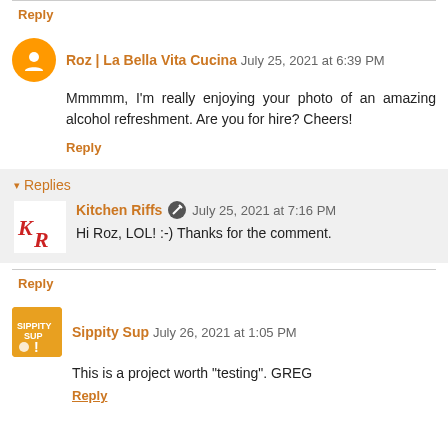Reply
Roz | La Bella Vita Cucina  July 25, 2021 at 6:39 PM
Mmmmm, I'm really enjoying your photo of an amazing alcohol refreshment. Are you for hire? Cheers!
Reply
Replies
Kitchen Riffs  July 25, 2021 at 7:16 PM
Hi Roz, LOL! :-) Thanks for the comment.
Reply
Sippity Sup  July 26, 2021 at 1:05 PM
This is a project worth "testing". GREG
Reply